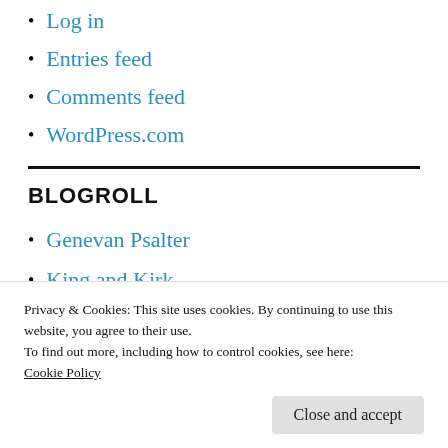Log in
Entries feed
Comments feed
WordPress.com
BLOGROLL
Genevan Psalter
King and Kirk
Privacy & Cookies: This site uses cookies. By continuing to use this website, you agree to their use.
To find out more, including how to control cookies, see here:
Cookie Policy
Puritanboard EP Forum